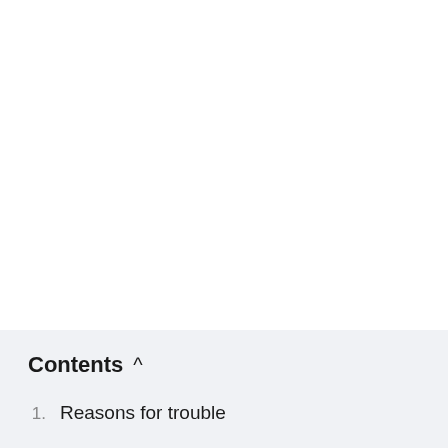Contents ^
1. Reasons for trouble